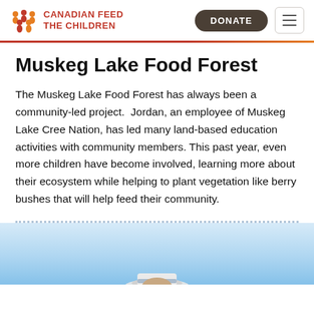CANADIAN FEED THE CHILDREN
Muskeg Lake Food Forest
The Muskeg Lake Food Forest has always been a community-led project. Jordan, an employee of Muskeg Lake Cree Nation, has led many land-based education activities with community members. This past year, even more children have become involved, learning more about their ecosystem while helping to plant vegetation like berry bushes that will help feed their community.
[Figure (photo): Partial view of a person wearing a hat, with a light blue background, photo cropped at bottom of page]